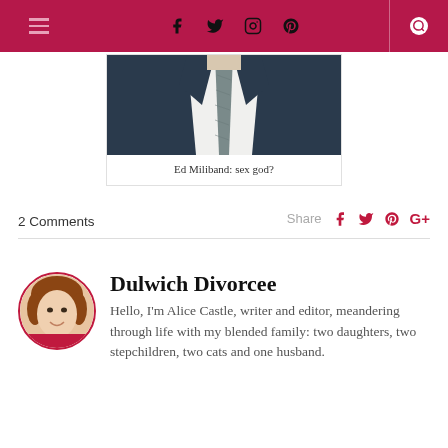Navigation header with hamburger menu, social icons (Facebook, Twitter, Instagram, Pinterest), divider, and search icon
[Figure (photo): Cropped photo of a man in a dark suit with a grey tie, showing neck/torso area only]
Ed Miliband: sex god?
2 Comments
Share
Dulwich Divorcee
Hello, I'm Alice Castle, writer and editor, meandering through life with my blended family: two daughters, two stepchildren, two cats and one husband.